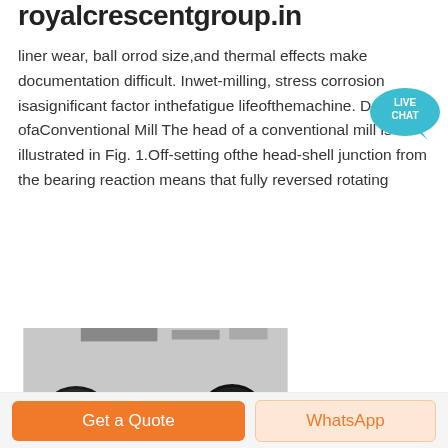royalcrescentgroup.in
liner wear, ball orrod size,and thermal effects make documentation difficult. Inwet-milling, stress corrosion isasignificant factor inthefatigue lifeofthemachine. Design ofaConventional Mill The head of a conventional mill is illustrated in Fig. 1.Off-setting ofthe head-shell junction from the bearing reaction means that fully reversed rotating
[Figure (photo): Orange industrial ball mill / jaw crusher machine with large black flywheels on both sides and a belt drive pulley, photographed outdoors.]
Get a Quote
WhatsApp